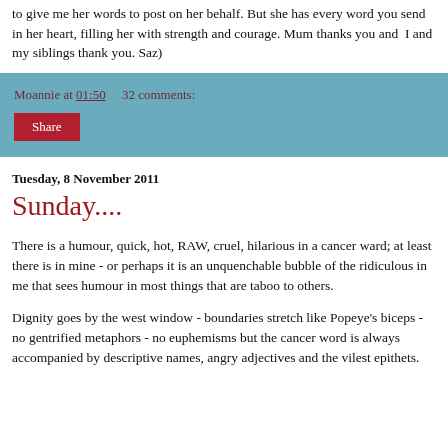to give me her words to post on her behalf. But she has every word you send in her heart, filling her with strength and courage. Mum thanks you and I and my siblings thank you. Saz)
Moannie at 01:50   32 comments:
Share
Tuesday, 8 November 2011
Sunday....
There is a humour, quick, hot, RAW, cruel, hilarious in a cancer ward; at least there is in mine - or perhaps it is an unquenchable bubble of the ridiculous in me that sees humour in most things that are taboo to others.
Dignity goes by the west window - boundaries stretch like Popeye's biceps - no gentrified metaphors - no euphemisms but the cancer word is always accompanied by descriptive names, angry adjectives and the vilest epithets.